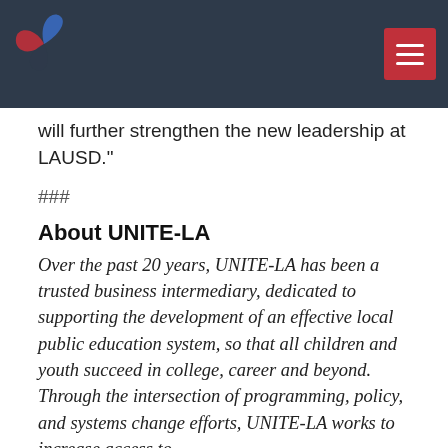[Figure (logo): UNITE-LA swirl logo in red and blue]
student outcomes. The collaboration of these leaders on behalf of all LAUSD students, with explicit commitment to equity for historically marginalized communities and populations, will further strengthen the new leadership at LAUSD."
###
About UNITE-LA
Over the past 20 years, UNITE-LA has been a trusted business intermediary, dedicated to supporting the development of an effective local public education system, so that all children and youth succeed in college, career and beyond. Through the intersection of programming, policy, and systems change efforts, UNITE-LA works to increase access to